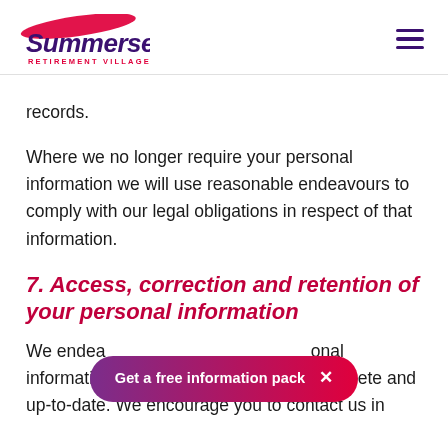Summerset Retirement Villages
records.
Where we no longer require your personal information we will use reasonable endeavours to comply with our legal obligations in respect of that information.
7. Access, correction and retention of your personal information
We endeavour to ensure that the personal information that we hold is accurate, complete and up-to-date. We encourage you to contact us in
[Figure (other): CTA button overlay reading 'Get a free information pack' with a close X button, gradient purple-to-red pill shape]